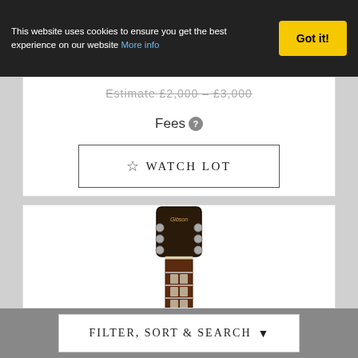This website uses cookies to ensure you get the best experience on our website More info
Got it!
Estimate £2,000 – £3,000
Fees ?
☆ WATCH LOT
[Figure (photo): Gibson guitar headstock and neck viewed from the front, showing tuning pegs and fretboard with inlays]
FILTER, SORT & SEARCH